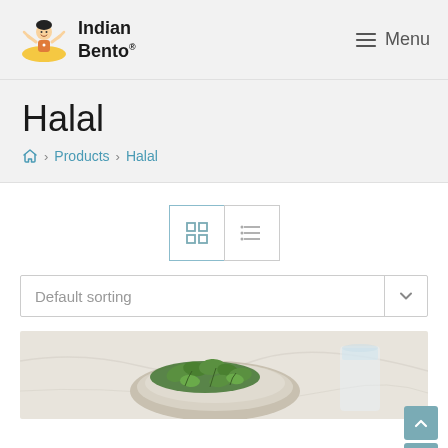Indian Bento® — Menu
Halal
Home > Products > Halal
[Figure (screenshot): Grid and list view toggle buttons and a Default sorting dropdown selector]
[Figure (photo): Product image showing a bowl of fresh green herbs (coriander/parsley) on a plate, with a glass partially visible, on a light marble surface]